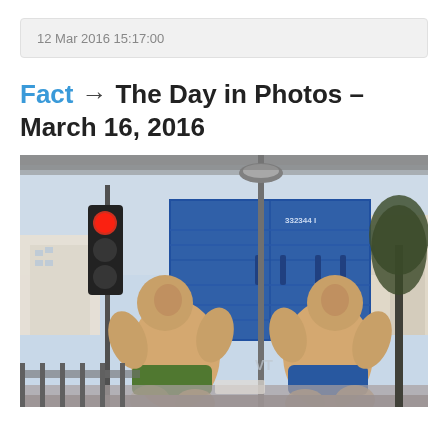12 Mar 2016 15:17:00
Fact → The Day in Photos – March 16, 2016
[Figure (photo): Two large sumo wrestler sculptures or statues posed outdoors in front of a blue shipping container (numbered 332344), a traffic light, a street lamp, and urban buildings in the background. The figures are wearing loincloth-style garments, one green, one blue, and appear to be looking upward.]